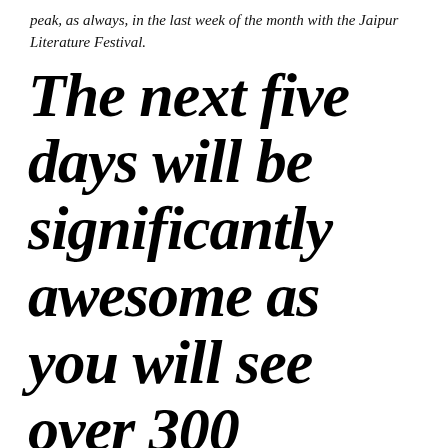peak, as always, in the last week of the month with the Jaipur Literature Festival.
The next five days will be significantly awesome as you will see over 300 speakers and thousands of